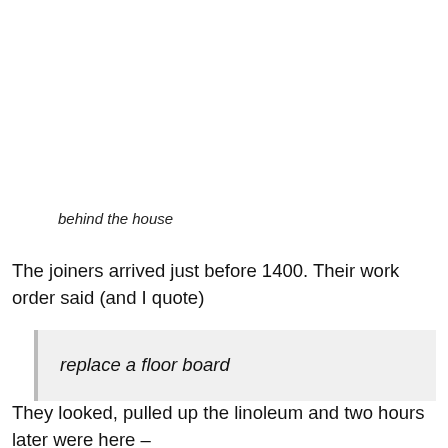behind the house
The joiners arrived just before 1400. Their work order said (and I quote)
replace a floor board
They looked, pulled up the linoleum and two hours later were here –